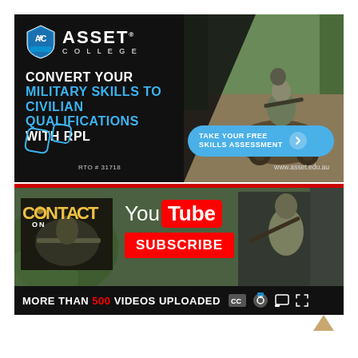[Figure (advertisement): Asset College advertisement: black background with photo of soldier on ATV. Text: CONVERT YOUR MILITARY SKILLS TO CIVILIAN QUALIFICATIONS WITH RPL. Logo: Asset College with shield. CTA button: TAKE YOUR FREE SKILLS ASSESSMENT. RTO # 31718. www.asset.edu.au]
[Figure (screenshot): YouTube channel promotion for CONTACT. Shows soldier photo background, CONTACT ON YouTube logo, SUBSCRIBE button in red, thumbnail of soldier. Bottom bar: MORE THAN 500 VIDEOS UPLOADED with YouTube player controls (CC, HD, cast, fullscreen icons).]